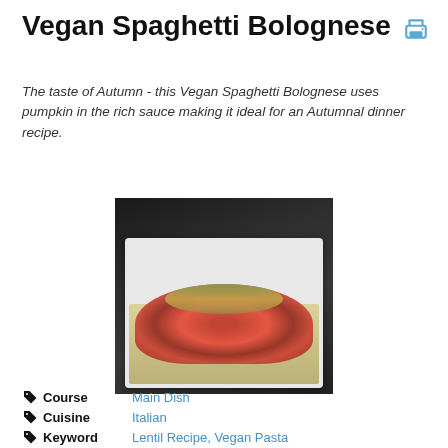Vegan Spaghetti Bolognese 🖨
The taste of Autumn - this Vegan Spaghetti Bolognese uses pumpkin in the rich sauce making it ideal for an Autumnal dinner recipe.
[Figure (photo): A plate of vegan spaghetti bolognese with tomato sauce and green herb topping on a white square plate, dark background]
🏷 Course   Main Dish
🏷 Cuisine   Italian
🏷 Keyword   Lentil Recipe, Vegan Pasta